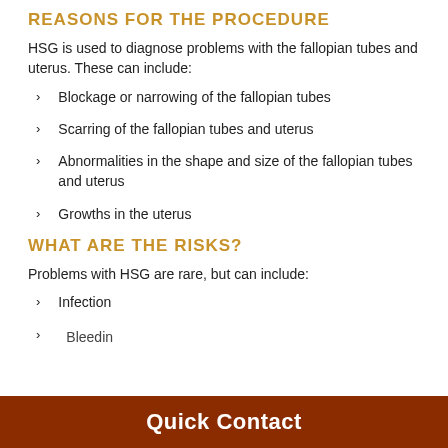REASONS FOR THE PROCEDURE
HSG is used to diagnose problems with the fallopian tubes and uterus. These can include:
Blockage or narrowing of the fallopian tubes
Scarring of the fallopian tubes and uterus
Abnormalities in the shape and size of the fallopian tubes and uterus
Growths in the uterus
WHAT ARE THE RISKS?
Problems with HSG are rare, but can include:
Infection
Bleeding
Quick Contact